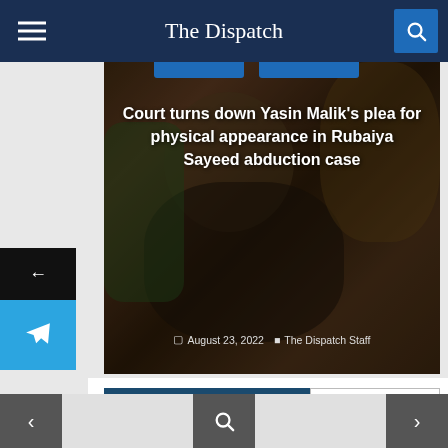The Dispatch
[Figure (photo): Article card with blurred face of a bearded man in background, headline text overlay reading 'Court turns down Yasin Malik's plea for physical appearance in Rubaiya Sayeed abduction case', dated August 23, 2022, by The Dispatch Staff]
Court turns down Yasin Malik's plea for physical appearance in Rubaiya Sayeed abduction case
August 23, 2022   The Dispatch Staff
About the author
VIEW ALL POSTS
The Dispatch Staff
< [search] >